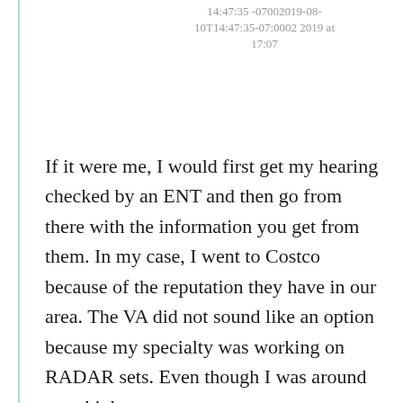14:47:35 -07002019-08-10T14:47:35-07:0002 2019 at 17:07
If it were me, I would first get my hearing checked by an ENT and then go from there with the information you get from them. In my case, I went to Costco because of the reputation they have in our area. The VA did not sound like an option because my specialty was working on RADAR sets. Even though I was around very high